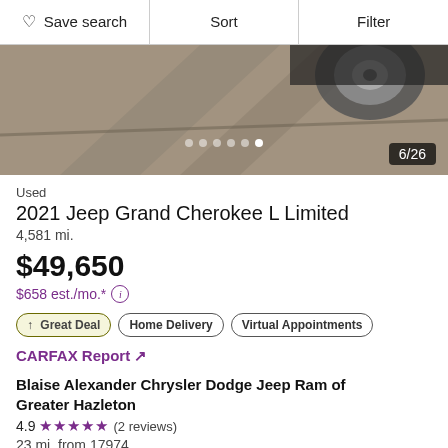♡ Save search | Sort | Filter
[Figure (photo): Car listing photo showing the underside/wheel area of a Jeep on pavement, showing 6/26 image counter]
Used
2021 Jeep Grand Cherokee L Limited
4,581 mi.
$49,650
$658 est./mo.*
↑ Great Deal | Home Delivery | Virtual Appointments
CARFAX Report ↗
Blaise Alexander Chrysler Dodge Jeep Ram of Greater Hazleton
4.9 ★★★★★ (2 reviews)
23 mi. from 17974